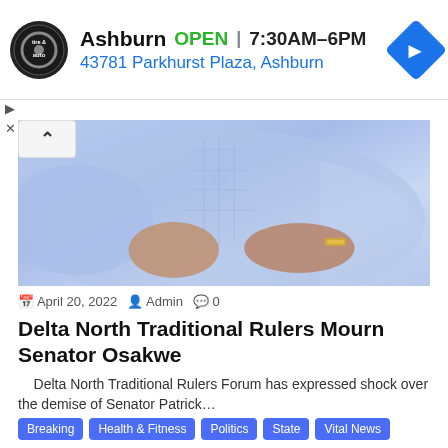[Figure (infographic): Advertisement banner for Ashburn tire & auto with logo, open status, hours (7:30AM-6PM), address (43781 Parkhurst Plaza, Ashburn), and blue navigation arrow icon]
[Figure (photo): Close-up photo of a person wearing a light blue traditional Nigerian agbada garment with embroidery, hands at waist, gold bracelet visible]
April 20, 2022  Admin  0
Delta North Traditional Rulers Mourn Senator Osakwe
Delta North Traditional Rulers Forum has expressed shock over the demise of Senator Patrick…
Breaking
Health & Fitness
Politics
State
Vital News